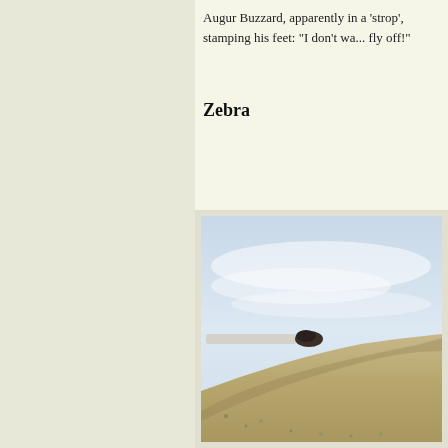Augur Buzzard, apparently in a 'strop', stamping his feet: "I don't wan... fly off!"
Zebra
[Figure (photo): A landscape photograph showing a wide open terrain with a pale blue and white clouded sky occupying the upper portion. The lower portion shows a hillside with sandy/golden ground cover, a dark rocky outcrop on the hill slope, and a distant flat pale area in the background.]